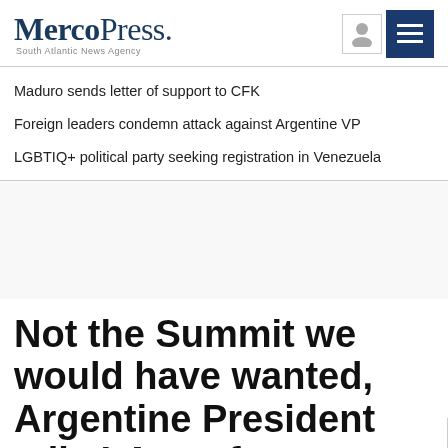MercoPress. South Atlantic News Agency
Maduro sends letter of support to CFK
Foreign leaders condemn attack against Argentine VP
LGBTIQ+ political party seeking registration in Venezuela
[Figure (other): Advertisement / blank content area]
Not the Summit we would have wanted, Argentine President tells LA conference